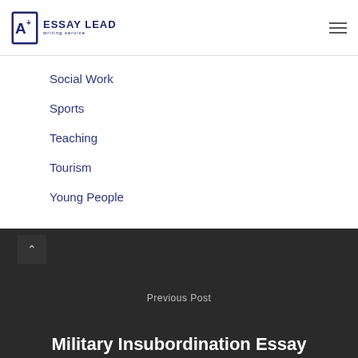[Figure (logo): Essay Lead writing service logo with stylized A+ icon]
Social Work
Sports
Teaching
Tourism
Young People
Previous Post
Military Insubordination Essay